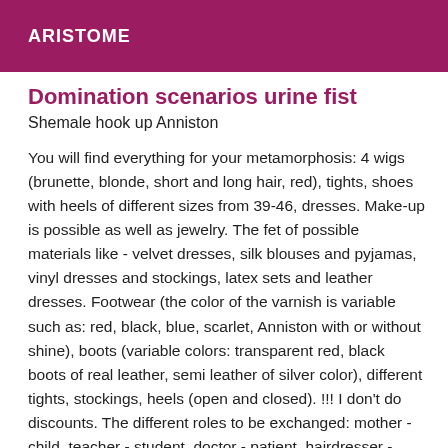ARISTOME
Domination scenarios urine fist
Shemale hook up Anniston
You will find everything for your metamorphosis: 4 wigs (brunette, blonde, short and long hair, red), tights, shoes with heels of different sizes from 39-46, dresses. Make-up is possible as well as jewelry. The fet of possible materials like - velvet dresses, silk blouses and pyjamas, vinyl dresses and stockings, latex sets and leather dresses. Footwear (the color of the varnish is variable such as: red, black, blue, scarlet, Anniston with or without shine), boots (variable colors: transparent red, black boots of real leather, semi leather of silver color), different tights, stockings, heels (open and closed). !!! I don't do discounts. The different roles to be exchanged: mother - child, teacher - student, doctor - patient, hairdresser - client, secretary - boss, the domina - dominated, the fiancée - the fiancé, the student - the